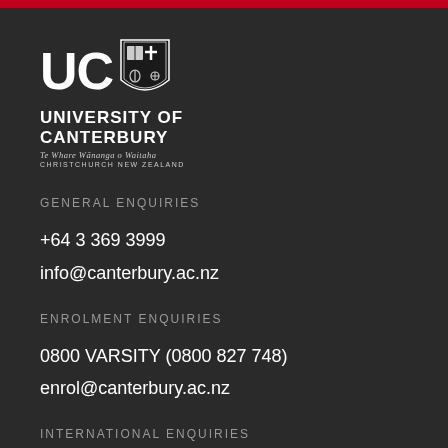[Figure (logo): University of Canterbury logo with UC letters, shield crest, text UNIVERSITY OF CANTERBURY, Te Whare Wānanga o Waitaha, CHRISTCHURCH NEW ZEALAND]
GENERAL ENQUIRIES
+64 3 369 3999
info@canterbury.ac.nz
ENROLMENT ENQUIRIES
0800 VARSITY (0800 827 748)
enrol@canterbury.ac.nz
INTERNATIONAL ENQUIRIES